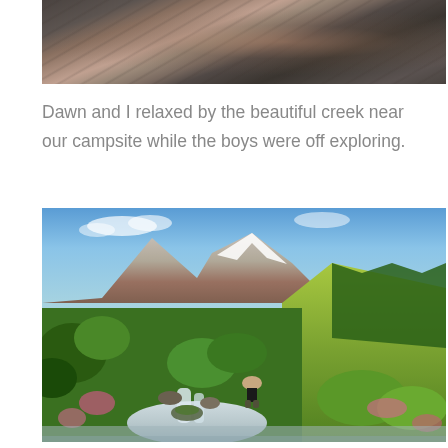[Figure (photo): Close-up photo of rocky, layered geological terrain with dark stone surfaces and diagonal strata lines]
Dawn and I relaxed by the beautiful creek near our campsite while the boys were off exploring.
[Figure (photo): Scenic mountain landscape photo showing a creek with small waterfall in the foreground surrounded by wildflowers and green vegetation, mountains with snow in the background under blue sky, and a person crouching by the stream]